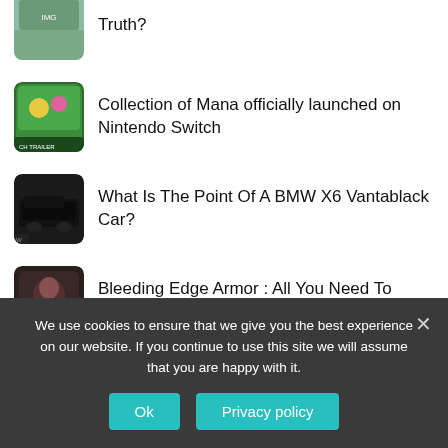[Figure (screenshot): Partial thumbnail of first article (cropped at top)]
Truth?
[Figure (screenshot): Colorful game art thumbnail — Collection of Mana trailer image]
Collection of Mana officially launched on Nintendo Switch
[Figure (photo): Black BMW car — dark/Vantablack colored SUV]
What Is The Point Of A BMW X6 Vantablack Car?
[Figure (photo): Person in Iron Man suit — Tony Stark armor]
Bleeding Edge Armor : All You Need To Know About Tony Stark's Finest Suit
[Figure (screenshot): Partially visible thumbnail with red/orange logo]
X1 creates sensation with their debut
We use cookies to ensure that we give you the best experience on our website. If you continue to use this site we will assume that you are happy with it.
Ok
Privacy policy